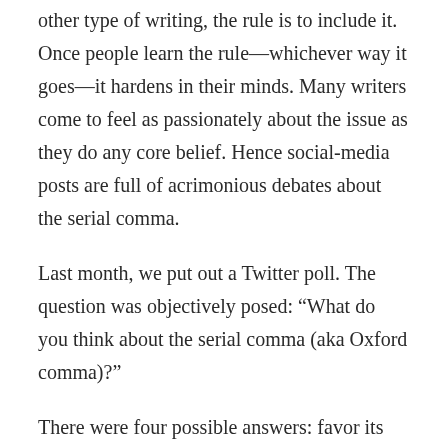other type of writing, the rule is to include it. Once people learn the rule—whichever way it goes—it hardens in their minds. Many writers come to feel as passionately about the issue as they do any core belief. Hence social-media posts are full of acrimonious debates about the serial comma.
Last month, we put out a Twitter poll. The question was objectively posed: “What do you think about the serial comma (aka Oxford comma)?”
There were four possible answers: favor its use (90%), disfavor its use (4%), don’t know what it is (1%), and feel indifferent (5%). The results among the 1,336 respondents were far more lopsided than we had expected. One